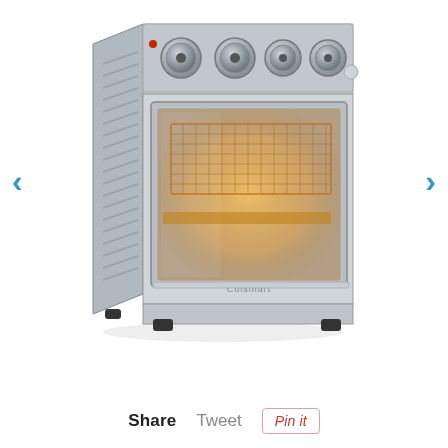[Figure (photo): A stainless steel Cuisinart air fryer toaster oven with four control knobs on top, glass door showing illuminated interior with a wire mesh air fryer basket and baking tray inside. Left and right navigation arrows (chevrons) in blue flank the product image on either side.]
Share   Tweet   Pin it